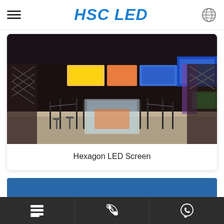HSC LED
[Figure (photo): Interior of a cinema or entertainment venue lobby with LED screens displaying menus and content at the top, barrier poles on a shiny floor, and decorative lattice columns on the sides.]
Hexagon LED Screen
Navigation bar with menu, phone, and WhatsApp icons